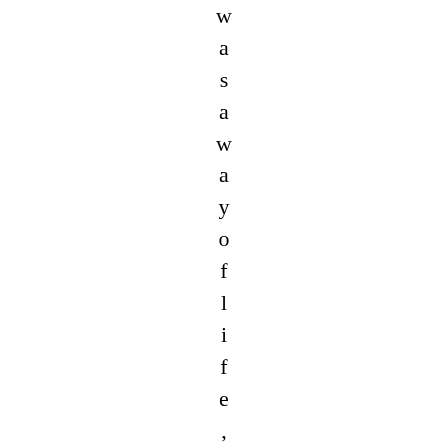was a way of life," Ralph J. Mar